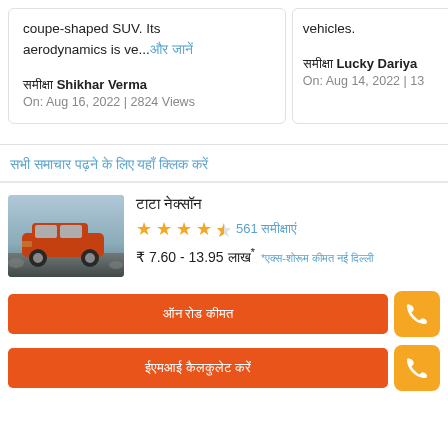coupe-shaped SUV. Its aerodynamics is ve... [Hindi link text]
[Hindi] Shikhar Verma
On: Aug 16, 2022 | 2824 Views
vehicles.
[Hindi] Lucky Dariya
On: Aug 14, 2022 | 13...
[Hindi section link]
[Hindi] product title
★★★★½ 561 [Hindi reviews]
₹ 7.60 - 13.95 [Hindi]* *[Hindi disclaimer]
[Hindi button text]
[Hindi button text]